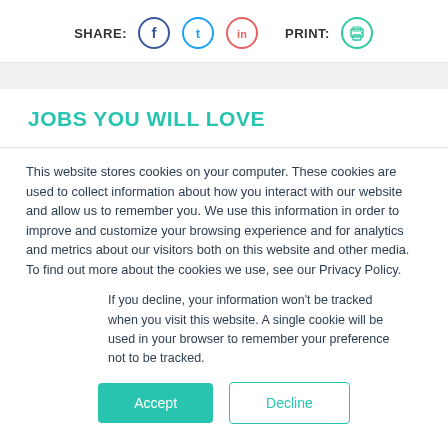SHARE: [Facebook] [Twitter] [LinkedIn]   PRINT: [Print icon]
JOBS YOU WILL LOVE
This website stores cookies on your computer. These cookies are used to collect information about how you interact with our website and allow us to remember you. We use this information in order to improve and customize your browsing experience and for analytics and metrics about our visitors both on this website and other media. To find out more about the cookies we use, see our Privacy Policy.
If you decline, your information won't be tracked when you visit this website. A single cookie will be used in your browser to remember your preference not to be tracked.
Accept   Decline